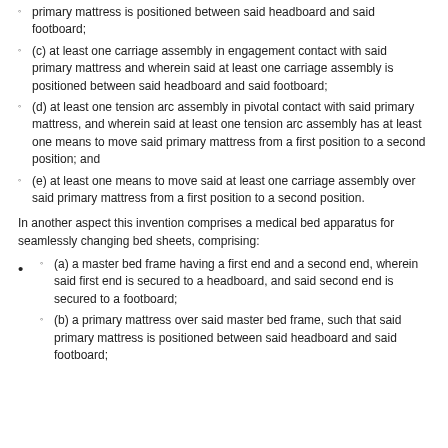primary mattress is positioned between said headboard and said footboard;
(c) at least one carriage assembly in engagement contact with said primary mattress and wherein said at least one carriage assembly is positioned between said headboard and said footboard;
(d) at least one tension arc assembly in pivotal contact with said primary mattress, and wherein said at least one tension arc assembly has at least one means to move said primary mattress from a first position to a second position; and
(e) at least one means to move said at least one carriage assembly over said primary mattress from a first position to a second position.
In another aspect this invention comprises a medical bed apparatus for seamlessly changing bed sheets, comprising:
(a) a master bed frame having a first end and a second end, wherein said first end is secured to a headboard, and said second end is secured to a footboard;
(b) a primary mattress over said master bed frame, such that said primary mattress is positioned between said headboard and said footboard;